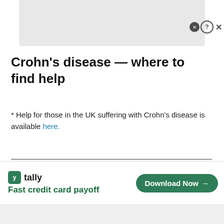[Figure (other): Gray placeholder image box at top of page]
Crohn's disease — where to find help
* Help for those in the UK suffering with Crohn's disease is available here.
Nicholas Cannon
[Figure (other): Advertisement banner for Tally: Fast credit card payoff with Download Now button]